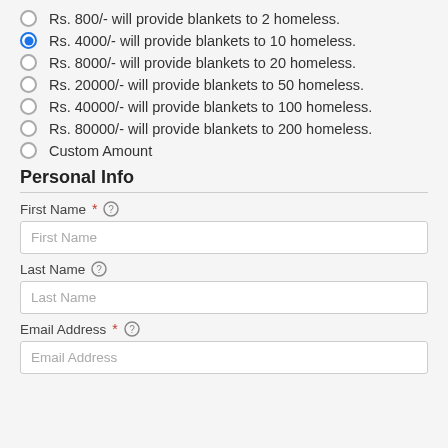Rs. 800/- will provide blankets to 2 homeless.
Rs. 4000/- will provide blankets to 10 homeless. (selected)
Rs. 8000/- will provide blankets to 20 homeless.
Rs. 20000/- will provide blankets to 50 homeless.
Rs. 40000/- will provide blankets to 100 homeless.
Rs. 80000/- will provide blankets to 200 homeless.
Custom Amount
Personal Info
First Name * (help icon)
First Name (placeholder)
Last Name (help icon)
Last Name (placeholder)
Email Address * (help icon)
Email Address (placeholder)